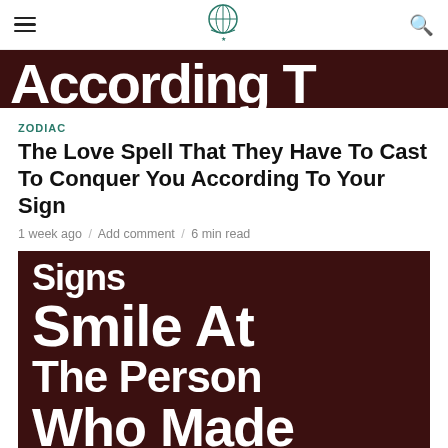Navigation header with hamburger menu, logo, and search icon
[Figure (photo): Dark brown banner image with large white bold text partially visible reading 'According T']
ZODIAC
The Love Spell That They Have To Cast To Conquer You According To Your Sign
1 week ago / Add comment / 6 min read
[Figure (photo): Dark brown image with large white bold text reading 'Signs Smile At The Person Who Made' (partially visible)]